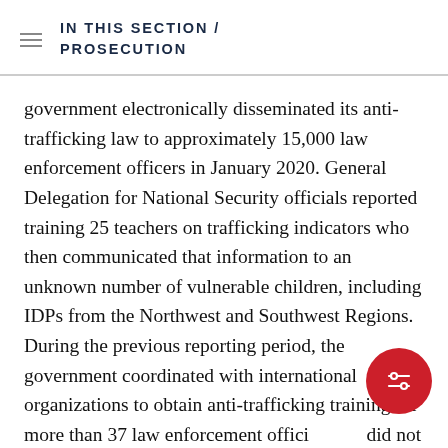IN THIS SECTION / PROSECUTION
government electronically disseminated its anti-trafficking law to approximately 15,000 law enforcement officers in January 2020. General Delegation for National Security officials reported training 25 teachers on trafficking indicators who then communicated that information to an unknown number of vulnerable children, including IDPs from the Northwest and Southwest Regions. During the previous reporting period, the government coordinated with international organizations to obtain anti-trafficking training for more than 37 law enforcement officers but did not directly train prosecutors, judges, or first responders. Because many law enforcement and judicial officials lack knowledge of the crime, some trafficking